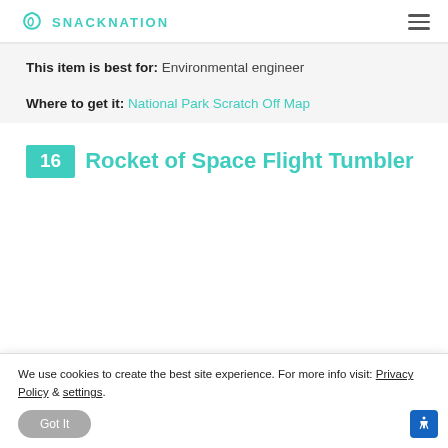SNACKNATION
This item is best for: Environmental engineer
Where to get it: National Park Scratch Off Map
16 Rocket of Space Flight Tumbler
We use cookies to create the best site experience. For more info visit: Privacy Policy & settings.